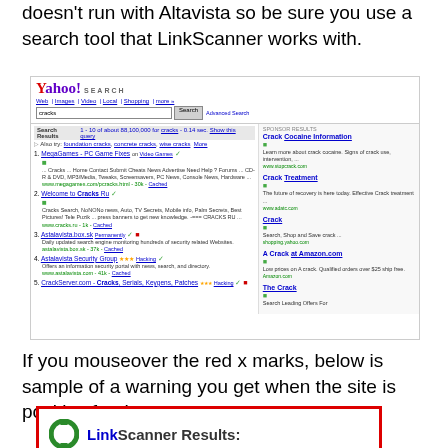doesn't run with Altavista so be sure you use a search tool that LinkScanner works with.
[Figure (screenshot): Yahoo Search results page for query 'cracks' showing organic results and sponsored ads. Left column shows results including MegaGames, Welcome to Cracks Ru, Astalavista box sk, Astalavista Security Group, CrackServer.com. Right column shows sponsored ads: Crack Cocaine Information, Crack Treatment, Crack, A Crack at Amazon.com, The Crack. Some results have green checkmarks and some have red X marks indicating security status from LinkScanner.]
If you mouseover the red x marks, below is sample of a warning you get when the site is positive for threats.
[Figure (screenshot): LinkScanner Results dialog box with red border, showing the LinkScanner logo (green circular arrows) and the text 'LinkScanner Results:']